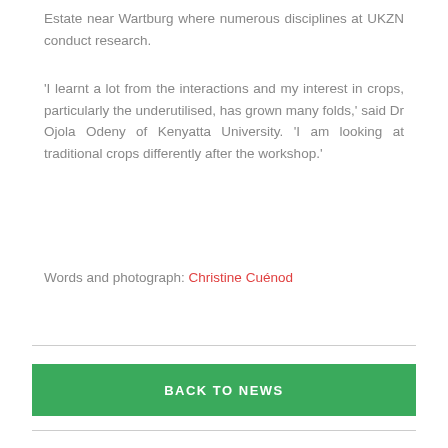Estate near Wartburg where numerous disciplines at UKZN conduct research.
'I learnt a lot from the interactions and my interest in crops, particularly the underutilised, has grown many folds,' said Dr Ojola Odeny of Kenyatta University. 'I am looking at traditional crops differently after the workshop.'
Words and photograph: Christine Cuénod
BACK TO NEWS